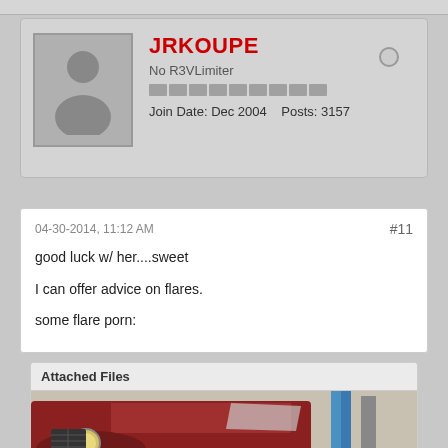JRKOUPE
No R3VLimiter
Join Date: Dec 2004   Posts: 3157
04-30-2014, 11:12 AM
#11
good luck w/ her....sweet
I can offer advice on flares.
some flare porn:
Attached Files
[Figure (photo): Photo of a red/maroon BMW 2002 with wide flares on the front fender, taken in a garage. The car has flared wheel arches and a round headlight visible.]